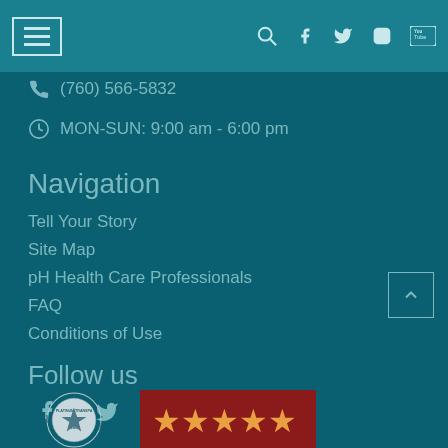Navigation menu with search, Facebook, Twitter, Instagram, YouTube icons
(760) 566-5832
MON-SUN: 9:00 am - 6:00 pm
Navigation
Tell Your Story
Site Map
pH Health Care Professionals
FAQ
Conditions of Use
Follow us
[Figure (illustration): Social media icons: Facebook, Twitter, Instagram, YouTube]
[Figure (logo): Charity Navigator Platinum Transparency seal badge]
[Figure (illustration): Five red star rating badge on dark red background]